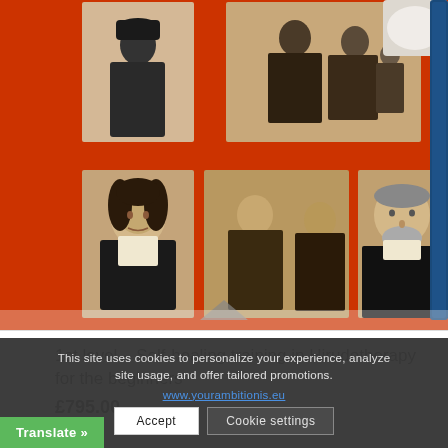[Figure (photo): A red book cover with a grid of black-and-white vintage portrait photographs, photographed at an angle on a surface. A white cup/mug is partially visible in the top-right corner. A dark blue pen or stylus is visible along the right edge.]
1st level – Self-healing training in Hirudotherapy for the beginners
£795.00
This site uses cookies to personalize your experience, analyze site usage, and offer tailored promotions.
www.yourambitionis.eu
Accept
Cookie settings
Translate »